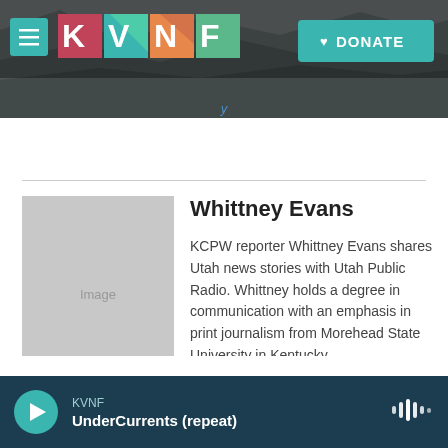[Figure (screenshot): KVNF radio station website header with logo and donate button over rocky background image]
Whittney Evans
KCPW reporter Whittney Evans shares Utah news stories with Utah Public Radio. Whittney holds a degree in communication with an emphasis in print journalism from Morehead State University in Kentucky.
See stories by Whittney Evans
KVNF UnderCurrents (repeat)